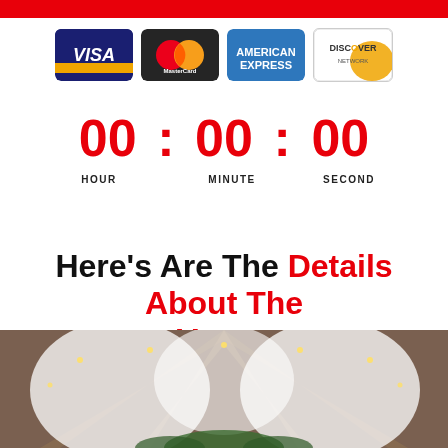[Figure (infographic): Red top banner bar]
[Figure (infographic): Four credit card logos: Visa, MasterCard, American Express, Discover Network]
00 : 00 : 00
HOUR   MINUTE   SECOND
Here's Are The Details About The Venue
[Figure (photo): Indoor venue with draped white fabric ceiling decorations and warm string lights, rustic barn style]